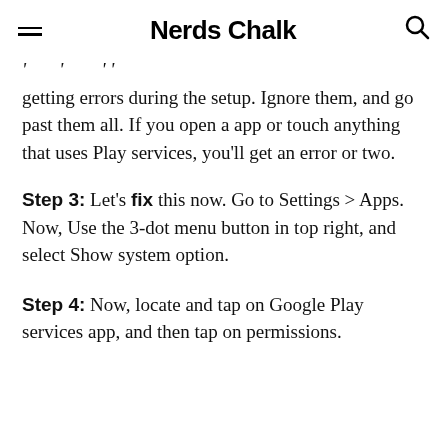Nerds Chalk
getting errors during the setup. Ignore them, and go past them all. If you open a app or touch anything that uses Play services, you'll get an error or two.
Step 3: Let's fix this now. Go to Settings > Apps. Now, Use the 3-dot menu button in top right, and select Show system option.
Step 4: Now, locate and tap on Google Play services app, and then tap on permissions.